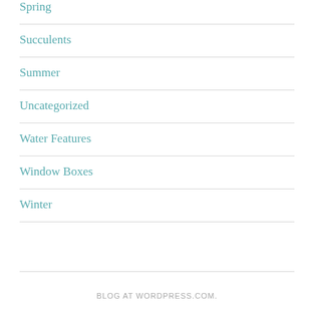Spring
Succulents
Summer
Uncategorized
Water Features
Window Boxes
Winter
BLOG AT WORDPRESS.COM.